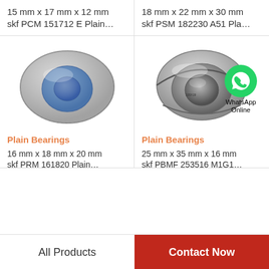15 mm x 17 mm x 12 mm
skf PCM 151712 E Plain…
18 mm x 22 mm x 30 mm
skf PSM 182230 A51 Pla…
[Figure (photo): SKF plain bearing ring, spherical plain bearing, metallic, front view]
[Figure (photo): SKF plain bearing, cylindrical, metallic, with WhatsApp Online overlay]
Plain Bearings
Plain Bearings
16 mm x 18 mm x 20 mm
skf PRM 161820 Plain…
25 mm x 35 mm x 16 mm
skf PBMF 253516 M1G1…
All Products
Contact Now